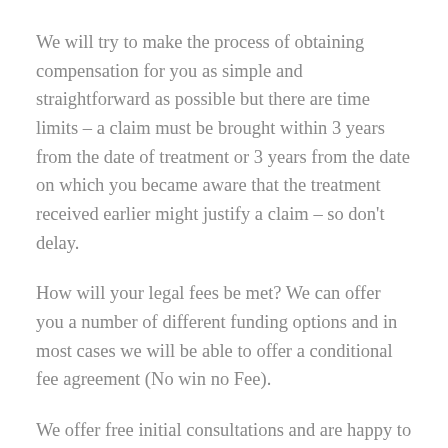We will try to make the process of obtaining compensation for you as simple and straightforward as possible but there are time limits – a claim must be brought within 3 years from the date of treatment or 3 years from the date on which you became aware that the treatment received earlier might justify a claim – so don't delay.
How will your legal fees be met? We can offer you a number of different funding options and in most cases we will be able to offer a conditional fee agreement (No win no Fee).
We offer free initial consultations and are happy to